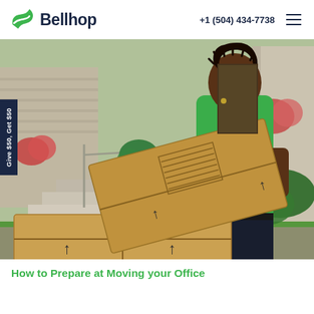[Figure (logo): Bellhop company logo with green wing/hat icon and dark navy 'Bellhop' wordmark]
+1 (504) 434-7738
[Figure (photo): A smiling man wearing a green Bellhop t-shirt carrying cardboard moving boxes in front of a residential house with steps and greenery]
Give $50, Get $50
How to Prepare at Moving your Office